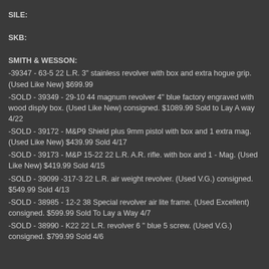SILE:
SKB:
SMITH & WESSON:
-39347 - 63-5 22 L.R. 3" stainless revolver with box and extra hogue grip. (Used Like New) $699.99
-SOLD - 39349 - 29-10 44 magnum revolver 4" blue factory engraved with wood disply box. (Used Like New) consigned. $1089.99 Sold to Lay A way 4/22
-SOLD - 39172 - M&P9 Shield plus 9mm pistol with box and 1 extra mag. (Used Like New) $439.99 Sold 4/17
-SOLD - 39173 - M&P 15-22 22 L.R. A.R. rifle. with box and 1 - Mag. (Used Like New) $419.99 Sold 4/15
-SOLD - 39099 -317-3 22 L.R. air weight revolver. (Used V.G.) consigned. $549.99 Sold 4/13
-SOLD - 38985 - 12-2 38 Special revolver air lite frame. (Used Excellent) consigned. $599.99 Sold To Lay a Way 4/7
-SOLD - 38990 - K22 22 L.R. revolver 6 " blue 5 screw. (Used V.G.) consigned. $799.99 Sold 4/6